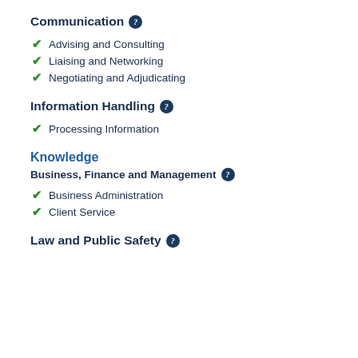Communication
Advising and Consulting
Liaising and Networking
Negotiating and Adjudicating
Information Handling
Processing Information
Knowledge
Business, Finance and Management
Business Administration
Client Service
Law and Public Safety